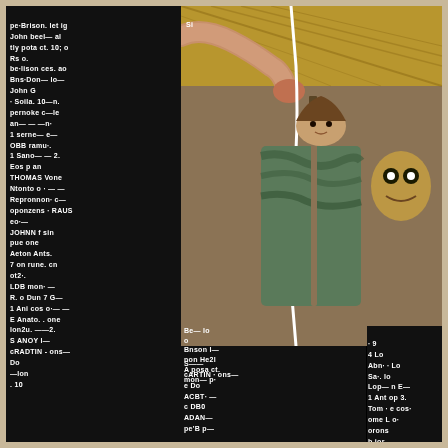[Figure (illustration): Comic book page featuring a dark background covered in white handwritten text (credits/notes) on the left and center-bottom panels, with comic art illustration in the center-right showing a figure holding a weapon, wearing tactical gear, with stylized background elements. The page appears to be credits or production notes for a comic book, rendered as handwriting on black panels surrounding the central artwork.]